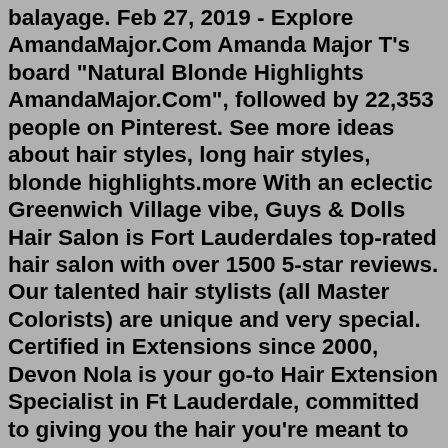balayage. Feb 27, 2019 - Explore AmandaMajor.Com Amanda Major T's board "Natural Blonde Highlights AmandaMajor.Com", followed by 22,353 people on Pinterest. See more ideas about hair styles, long hair styles, blonde highlights.more With an eclectic Greenwich Village vibe, Guys & Dolls Hair Salon is Fort Lauderdales top-rated hair salon with over 1500 5-star reviews. Our talented hair stylists (all Master Colorists) are unique and very special. Certified in Extensions since 2000, Devon Nola is your go-to Hair Extension Specialist in Ft Lauderdale, committed to giving you the hair you're meant to have without ever compromising the integrity of your natural hair. Book your appointment today. 954.224.2417. 2312 Northeast 26th Street, Fort Lauderdale, FL 33305. You're Favorite Hair Salon in Fort Lauderdale Specializing in Hair Extensions, Color and Balayage. Hair Extension Certifications in Great Lengths, Bellami and Invisible Bead Extensions. Start Here Menu Our Salon Resources SHOP Get in Touch (954) 302.6499GET TO KNOW US. Form Hair Studio in